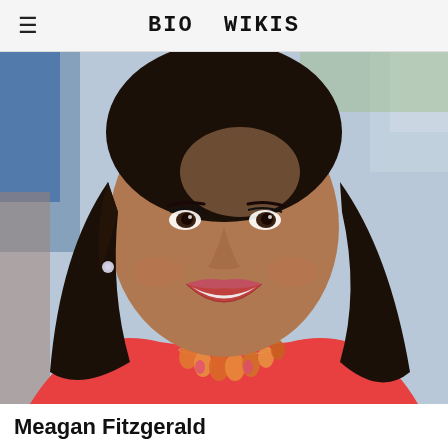BIO WIKIS
[Figure (photo): Portrait photo of Meagan Fitzgerald, a woman with dark shoulder-length hair, smiling, wearing a coral/red sleeveless top and an orange statement necklace, with a blurred background.]
Meagan Fitzgerald